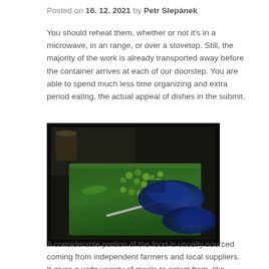Posted on 16. 12. 2021 by Petr Slepánek
You should reheat them, whether or not it's in a microwave, in an range, or over a stovetop. Still, the majority of the work is already transported away before the container arrives at each of our doorstep. You are able to spend much less time organizing and extra period eating, the actual appeal of dishes in the submit.
[Figure (photo): Hands wearing blue gloves cutting green chili peppers on a green cutting board, with a knife and additional peppers visible nearby.]
A considerable portion of the food is usually sourced coming from independent farmers and local suppliers. It gives a wide variety of meals to select from, like entrees, soups, chilis, breakfasts, facet meals, and extra. You are able to order